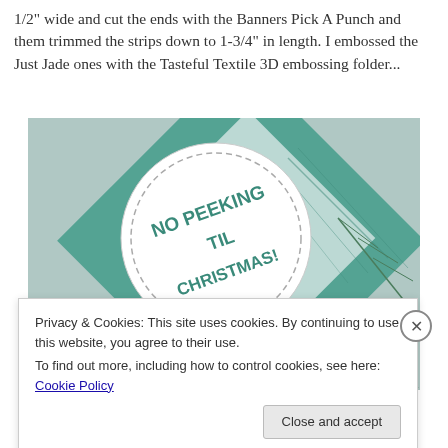1/2" wide and cut the ends with the Banners Pick A Punch and them trimmed the strips down to 1-3/4" in length. I embossed the Just Jade ones with the Tasteful Textile 3D embossing folder...
[Figure (photo): Close-up photo of a handmade Christmas card featuring a white die-cut circle with dashed border stamped with 'NO PEEKING TIL CHRISTMAS!' in teal ink, two enamel dots (gold and teal), and a teal/white patterned background with pine branches.]
Privacy & Cookies: This site uses cookies. By continuing to use this website, you agree to their use.
To find out more, including how to control cookies, see here: Cookie Policy